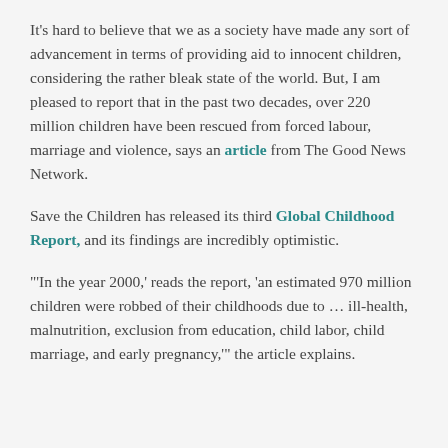It's hard to believe that we as a society have made any sort of advancement in terms of providing aid to innocent children, considering the rather bleak state of the world. But, I am pleased to report that in the past two decades, over 220 million children have been rescued from forced labour, marriage and violence, says an article from The Good News Network.
Save the Children has released its third Global Childhood Report, and its findings are incredibly optimistic.
"'In the year 2000,' reads the report, 'an estimated 970 million children were robbed of their childhoods due to ... ill-health, malnutrition, exclusion from education, child labor, child marriage, and early pregnancy,'" the article explains.